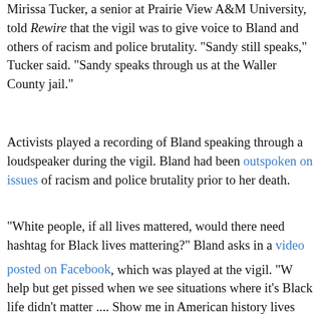Mirissa Tucker, a senior at Prairie View A&M University, told Rewire that the vigil was to give voice to Bland and others victims of racism and police brutality. "Sandy still speaks," Tucker said. "Sandy speaks through us at the Waller County jail."
Activists played a recording of Bland speaking through a loudspeaker during the vigil. Bland had been outspoken on issues of racism and police brutality prior to her death.
"White people, if all lives mattered, would there need to be a hashtag for Black lives mattering?" Bland asks in a video posted on Facebook, which was played at the vigil. "We can't help but get pissed when we see situations where it's clear a Black life didn't matter .... Show me in American history where lives have mattered. Show me where there has been liberty and justice for all."
Tucker said that she came to the vigil to "push through" the pain she has about racism and police brutality, because the...